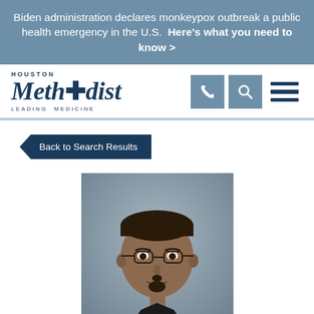Biden administration declares monkeypox outbreak a public health emergency in the U.S. Here's what you need to know >
[Figure (logo): Houston Methodist Leading Medicine logo]
[Figure (other): Navigation icons: phone, search, and hamburger menu]
Back to Search Results
[Figure (photo): Professional headshot of a male physician wearing glasses and a dark suit, with a grey background]